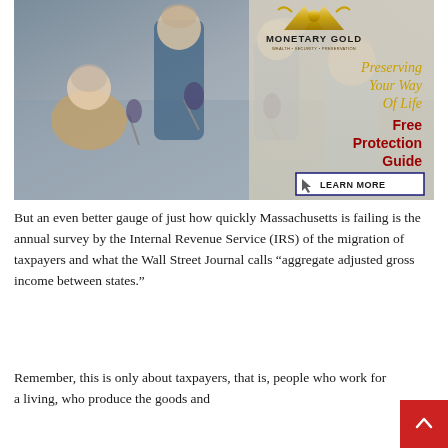[Figure (illustration): Monetary Gold advertisement banner showing a group of people (two older adults and two younger adults) toasting with wine glasses. The ad includes the Monetary Gold logo at top, gold italic text reading 'Preserving Your Way Of Life', red bold text reading 'Free Protection Guide', and a 'LEARN MORE' button at the bottom right.]
But an even better gauge of just how quickly Massachusetts is failing is the annual survey by the Internal Revenue Service (IRS) of the migration of taxpayers and what the Wall Street Journal calls “aggregate adjusted gross income between states.”
Remember, this is only about taxpayers, that is, people who work for a living, who produce the goods and